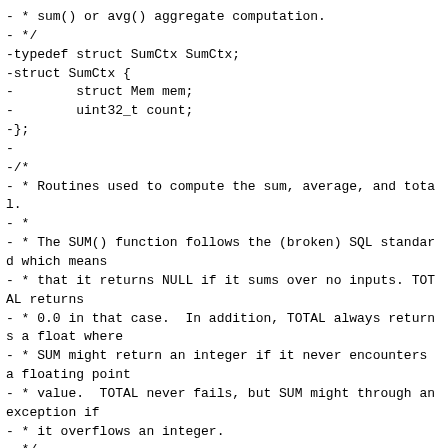- * sum() or avg() aggregate computation.
- */
-typedef struct SumCtx SumCtx;
-struct SumCtx {
-        struct Mem mem;
-        uint32_t count;
-};
-
-/*
- * Routines used to compute the sum, average, and total.
- *
- * The SUM() function follows the (broken) SQL standard which means
- * that it returns NULL if it sums over no inputs. TOTAL returns
- * 0.0 in that case.  In addition, TOTAL always returns a float where
- * SUM might return an integer if it never encounters a floating point
- * value.  TOTAL never fails, but SUM might through an exception if
- * it overflows an integer.
- */
-static void
-sum_step(struct sql_context *context, int argc, sql_value **argv)
-{
-        assert(argc == 1);
-        UNUSED_PARAMETER(argc);